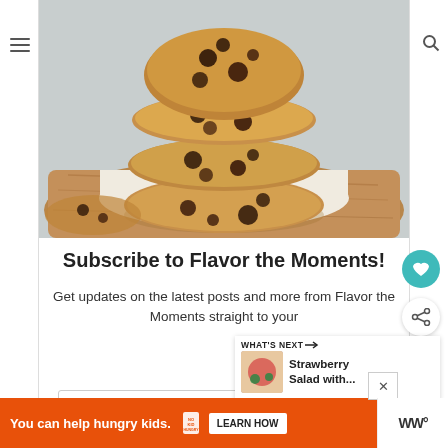[Figure (photo): Stack of chocolate chip cookies on parchment paper on a wooden board, gray background]
Subscribe to Flavor the Moments!
Get updates on the latest posts and more from Flavor the Moments straight to your
Your Email
[Figure (photo): What's Next panel showing Strawberry Salad with... thumbnail]
WHAT'S NEXT → Strawberry Salad with...
You can help hungry kids. NO KID HUNGRY LEARN HOW